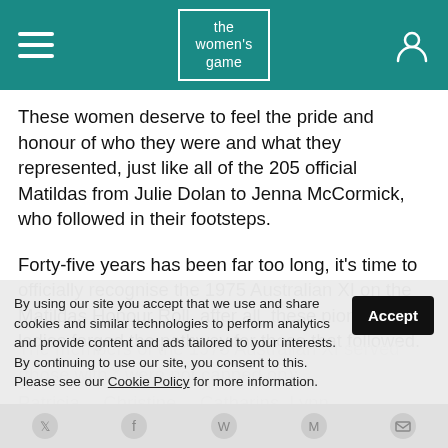the women's game
These women deserve to feel the pride and honour of who they were and what they represented, just like all of the 205 official Matildas from Julie Dolan to Jenna McCormick, who followed in their footsteps.
Forty-five years has been far too long, it’s time to officially recognise the 1975 Australian XI on the Matildas Honour Roll, after all, these pioneering ladies forged the pathway for those that followed.
The members of the 1975 Australian XI served (those with * were not capped on): … Patricia… Christine… Catharins, Lynn…
By using our site you accept that we use and share cookies and similar technologies to perform analytics and provide content and ads tailored to your interests. By continuing to use our site, you consent to this. Please see our Cookie Policy for more information.